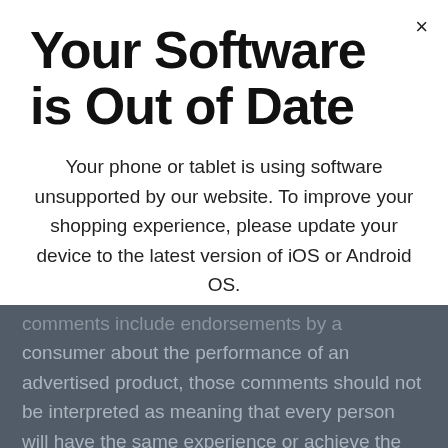Your Software is Out of Date
Your phone or tablet is using software unsupported by our website. To improve your shopping experience, please update your device to the latest version of iOS or Android OS.
comments include endorsements by a consumer about the performance of an advertised product, those comments should not be interpreted as meaning that every person will have the same experience or achieve the same or similar results. A consumer testimonial is a representation of one person's subjective experience